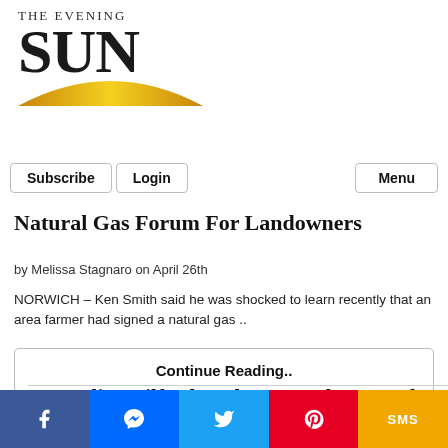[Figure (logo): The Evening Sun newspaper logo with large SUN text and golden arc/sunrise graphic below]
Subscribe  Login  Menu
Natural Gas Forum For Landowners
by Melissa Stagnaro on April 26th
NORWICH – Ken Smith said he was shocked to learn recently that an area farmer had signed a natural gas ..
Continue Reading..
New Berlin, Milford Back On Track In Land Deal As Agro Farma Donates Baseball Fields